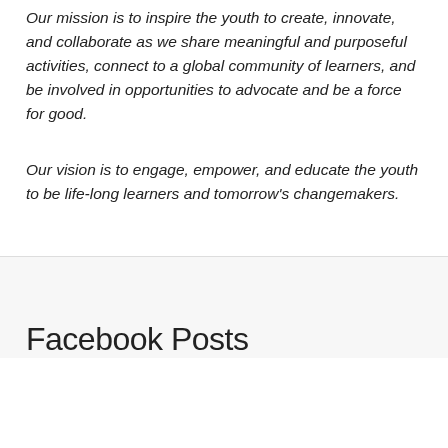Our mission is to inspire the youth to create, innovate, and collaborate as we share meaningful and purposeful activities, connect to a global community of learners, and be involved in opportunities to advocate and be a force for good.
Our vision is to engage, empower, and educate the youth to be life-long learners and tomorrow's changemakers.
Facebook Posts